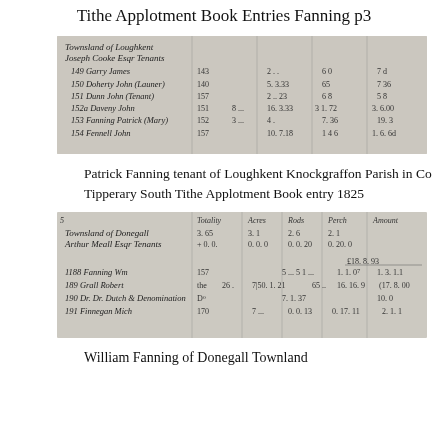Tithe Applotment Book Entries Fanning p3
[Figure (photo): Scanned manuscript page from a Tithe Applotment Book showing handwritten entries for tenants of Loughkent including names such as Garry James, Doherty John (Launer), Dunn John (Tenant), Daveny John, Fanning Patrick (Mary), Fennell John, with columns for acreage and tithe amounts.]
Patrick Fanning tenant of Loughkent Knockgraffon Parish in Co Tipperary South Tithe Applotment Book entry 1825
[Figure (photo): Scanned manuscript page from a Tithe Applotment Book showing handwritten entries for Townsland of Donegall, Arthur Meall Esq Tenants, including entries for Fanning Wm, Grall Robert, Dr. Dr. Dutch & Denomination, Finnegan Mich, with columns for Totality, Acres, Rods, Perch, and Amount.]
William Fanning of Donegall Townland